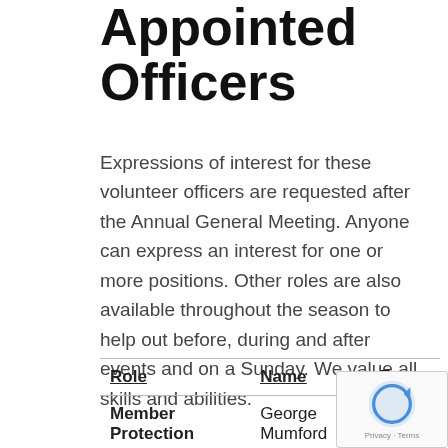Appointed Officers
Expressions of interest for these volunteer officers are requested after the Annual General Meeting. Anyone can express an interest for one or more positions. Other roles are also available throughout the season to help out before, during and after events and on a Sunday. We value all skills and abilities.
| Role | Name | Ema... |
| --- | --- | --- |
| Member Protection | George Mumford |  |